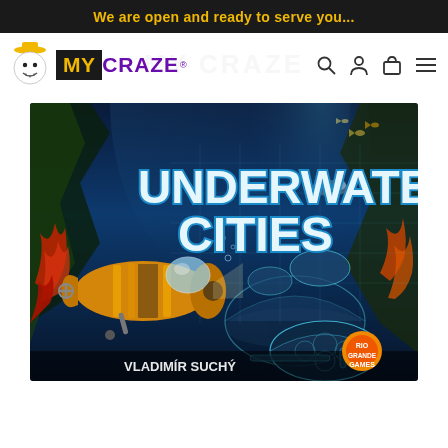We are open and ready to serve you...
[Figure (logo): MyCraze store logo with mascot snowman with cap and navigation icons]
[Figure (photo): Underwater Cities board game box cover featuring a submarine, underwater city domes, 'UNDERWATER CITIES' title text, 'Vladimír Suchý' author name, and Rio Grande Games logo]